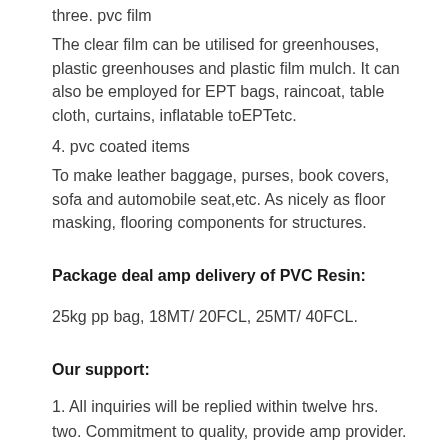three. pvc film
The clear film can be utilised for greenhouses, plastic greenhouses and plastic film mulch. It can also be employed for EPT bags, raincoat, table cloth, curtains, inflatable toEPTetc.
4. pvc coated items
To make leather baggage, purses, book covers, sofa and automobile seat,etc. As nicely as floor masking, flooring components for structures.
Package deal amp delivery of PVC Resin:
25kg pp bag, 18MT/ 20FCL, 25MT/ 40FCL.
Our support:
1. All inquiries will be replied within twelve hrs.
two. Commitment to quality, provide amp provider.
three. Strictly on deciding on uncooked materials.